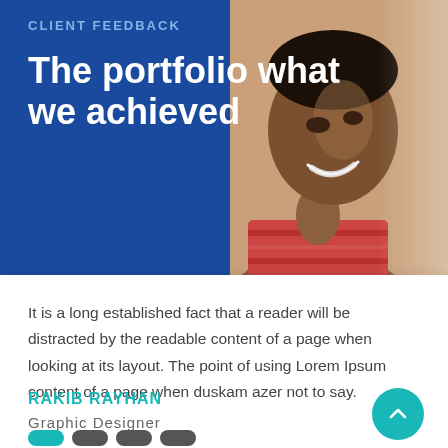CLIENT FEEDBACK
The portfolio what we achieved
[Figure (photo): Smiling person in profile/three-quarter view, warm lighting, colorful shirt]
It is a long established fact that a reader will be distracted by the readable content of a page when looking at its layout. The point of using Lorem Ipsum content of a page when duskam azer not to say.
RAKIB RAYHAN
Graphic Designer